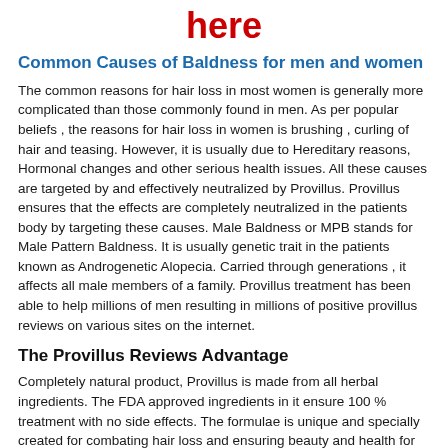here
Common Causes of Baldness for men and women
The common reasons for hair loss in most women is generally more complicated than those commonly found in men. As per popular beliefs , the reasons for hair loss in women is brushing , curling of hair and teasing. However, it is usually due to Hereditary reasons, Hormonal changes and other serious health issues. All these causes are targeted by and effectively neutralized by Provillus. Provillus ensures that the effects are completely neutralized in the patients body by targeting these causes. Male Baldness or MPB stands for Male Pattern Baldness. It is usually genetic trait in the patients known as Androgenetic Alopecia. Carried through generations , it affects all male members of a family. Provillus treatment has been able to help millions of men resulting in millions of positive provillus reviews on various sites on the internet.
The Provillus Reviews Advantage
Completely natural product, Provillus is made from all herbal ingredients. The FDA approved ingredients in it ensure 100 % treatment with no side effects. The formulae is unique and specially created for combating hair loss and ensuring beauty and health for fresh growth of hair. The Provillus reviews provide an advantage to the users to select the best possible product in the market. Such reviews provide an honest description of the